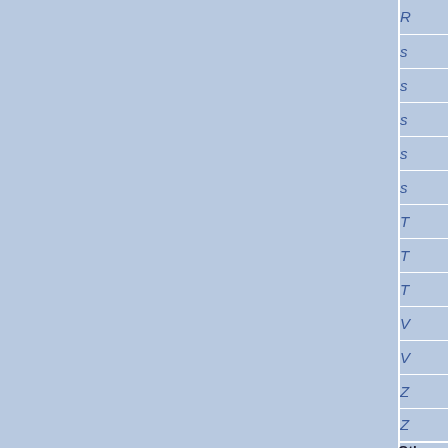|  |  | Allele |
| --- | --- | --- |
|  |  | R... |
|  |  | s... |
|  |  | s... |
|  |  | s... |
|  |  | s... |
|  |  | s... |
|  |  | T... |
|  |  | T... |
|  |  | T... |
|  |  | V... |
|  |  | V... |
|  |  | Z... |
|  |  | Z... |
|  | Other mutations in Plod2 | A... |
|  |  | K... |
|  |  | K... |